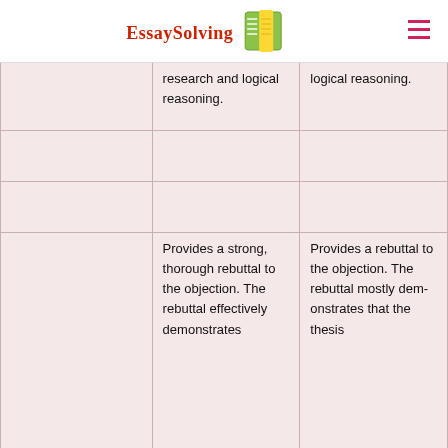EssaySolving
|  |  |  |
| --- | --- | --- |
|  | research and logical reasoning. | logical reasoning. |
|  |  |  |
|  |  |  |
|  | Provides a strong, thorough rebuttal to the objection. The rebuttal effectively demonstrates | Provides a rebuttal to the objection. The rebuttal mostly demonstrates that the thesis |